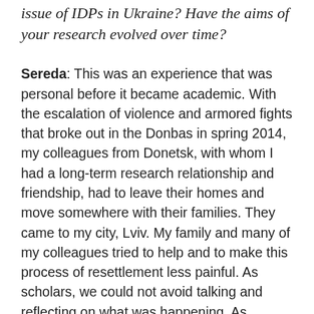issue of IDPs in Ukraine? Have the aims of your research evolved over time?
Sereda: This was an experience that was personal before it became academic. With the escalation of violence and armored fights that broke out in the Donbas in spring 2014, my colleagues from Donetsk, with whom I had a long-term research relationship and friendship, had to leave their homes and move somewhere with their families. They came to my city, Lviv. My family and many of my colleagues tried to help and to make this process of resettlement less painful. As scholars, we could not avoid talking and reflecting on what was happening. As sociologists, we knew that it was an absolutely unprecedented case for the country.